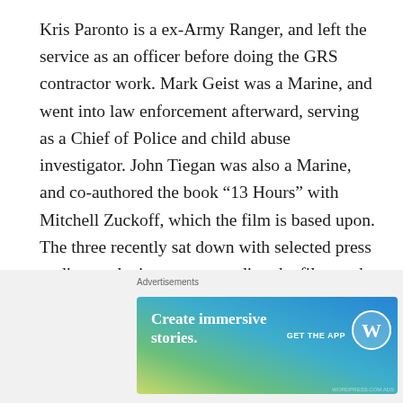Kris Paronto is a ex-Army Ranger, and left the service as an officer before doing the GRS contractor work. Mark Geist was a Marine, and went into law enforcement afterward, serving as a Chief of Police and child abuse investigator. John Tiegan was also a Marine, and co-authored the book “13 Hours” with Mitchell Zuckoff, which the film is based upon. The three recently sat down with selected press to discuss the issues surrounding the film, and their role on that fateful night.
Tanto and Pablo:
[Figure (other): WordPress advertisement banner reading 'Create immersive stories.' with 'GET THE APP' call to action and WordPress logo, on a gradient blue-green background. Labeled 'Advertisements' above.]